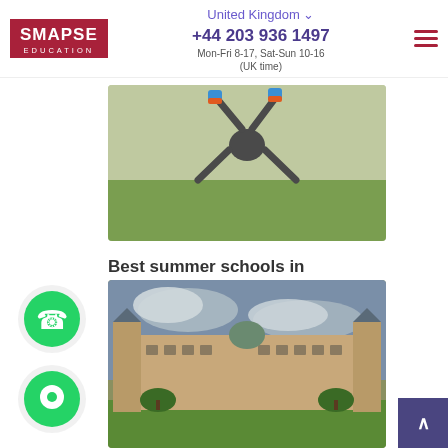SMAPSE EDUCATION | United Kingdom | +44 203 936 1497 | Mon-Fri 8-17, Sat-Sun 10-16 (UK time)
[Figure (photo): Photo of a person doing a cartwheel or acrobatics on grass outdoors, legs in the air, colorful socks visible]
Best summer schools in Brighton for foreign students
[Figure (photo): Photo of a large ornate classical European building (possibly Luxembourg Palace) with green lawn in front, cloudy sky]